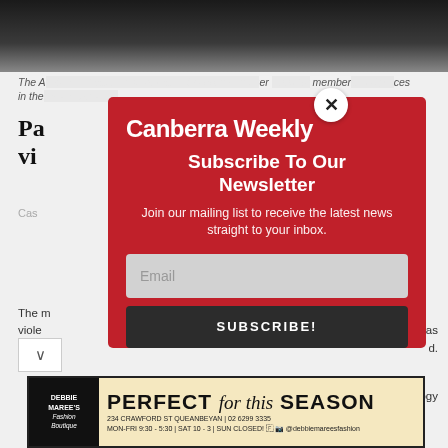[Figure (screenshot): Dark photograph partially visible at top of page behind modal overlay]
The A[ustralian Associ]ation of [Distinct breeds has o]ver [100,000] member[s and pla]ces
in the [...]
Pa[...]
vi[...]
Cas[...]
The m[...] viole[...] has incre[...] d.
[Figure (screenshot): Canberra Weekly newsletter subscription modal overlay with red background. Contains logo 'Canberra Weekly', headline 'Subscribe To Our Newsletter', subtext 'Join our mailing list to receive the latest news straight to your inbox.', email input field, and SUBSCRIBE! button.]
[Figure (advertisement): Debbie Maree's Fashion Boutique advertisement. Text reads: PERFECT for this SEASON. 234 Crawford St Queanbeyan | 02 6299 3335. MON-FRI 9:30 - 5:30 | SAT 10 - 3 | SUN CLOSED! Facebook Instagram @debbiemareesfashion]